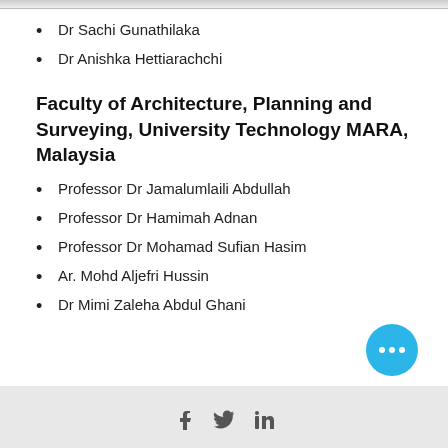Dr Sachi Gunathilaka
Dr Anishka Hettiarachchi
Faculty of Architecture, Planning and Surveying, University Technology MARA, Malaysia
Professor Dr Jamalumlaili Abdullah
Professor Dr Hamimah Adnan
Professor Dr Mohamad Sufian Hasim
Ar. Mohd Aljefri Hussin
Dr Mimi Zaleha Abdul Ghani